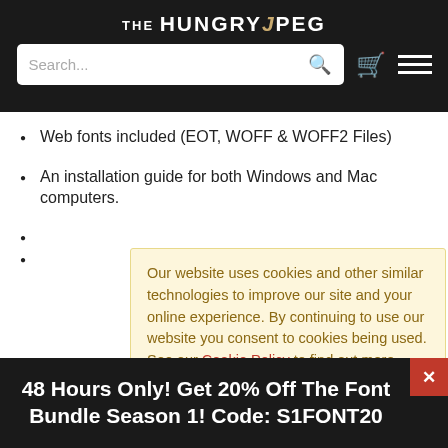THE HUNGRY JPEG — navigation bar with search, cart, and menu icons
Web fonts included (EOT, WOFF & WOFF2 Files)
An installation guide for both Windows and Mac computers.
Our website uses cookies and other similar technologies to improve our site and your online experience. By continuing to use our website you consent to cookies being used. See our Cookie Policy to find out more.
ADDI
48 Hours Only! Get 20% Off The Font Bundle Season 1! Code: S1FONT20